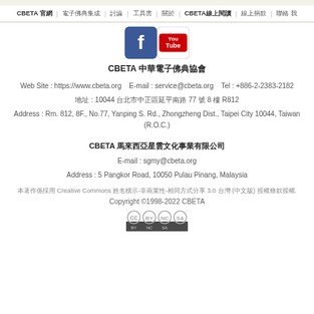CBETA 官網 | 電子佛典集成 | 討論 | 工具書 | 關於 | CBETA線上閱讀 | 線上捐款 | 聯絡 我
[Figure (logo): Facebook and YouTube social media icons]
CBETA 中華電子佛典協會
Web Site : https://www.cbeta.org    E-mail : service@cbeta.org    Tel : +886-2-2383-2182
地址 : 10044 台北市中正區延平南路 77 號 8 樓 R812
Address : Rm. 812, 8F., No.77, Yanping S. Rd., Zhongzheng Dist., Taipei City 10044, Taiwan (R.O.C.)
CBETA 馬來西亞星雲文化事業有限公司
E-mail : sgmy@cbeta.org
Address : 5 Pangkor Road, 10050 Pulau Pinang, Malaysia
本著作係採用 Creative Commons 姓名標示-非商業性-相同方式分享 3.0 台灣 (中文版) 授權條款授權.
Copyright ©1998-2022 CBETA
[Figure (logo): Creative Commons BY-NC-SA license badge]